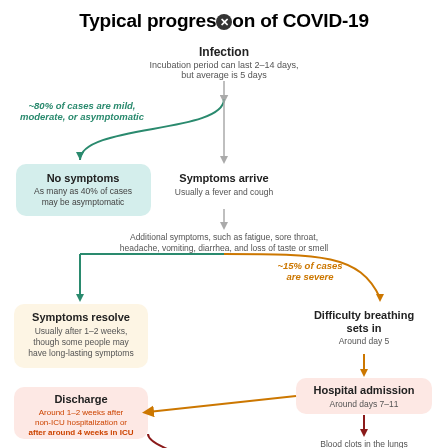Typical progression of COVID-19
[Figure (flowchart): Flowchart showing typical progression of COVID-19 from infection through incubation, symptoms, severity branching (80% mild/asymptomatic, 15% severe), outcomes including no symptoms, symptoms resolve, difficulty breathing, hospital admission, discharge, blood clots, and death.]